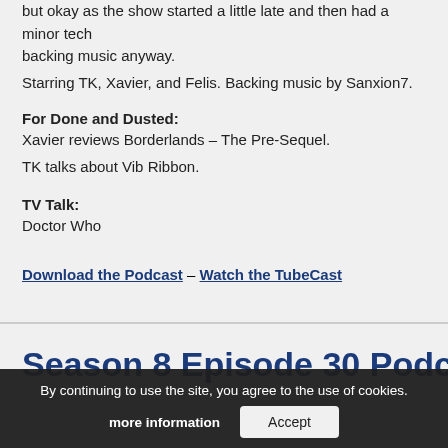but okay as the show started a little late and then had a minor tech… backing music anyway.
Starring TK, Xavier, and Felis. Backing music by Sanxion7.
For Done and Dusted:
Xavier reviews Borderlands – The Pre-Sequel.
TK talks about Vib Ribbon.
TV Talk:
Doctor Who
Download the Podcast – Watch the TubeCast
Season 8 Episode 30 Podcast Uploaded
October 13, 2014   by   thomessAlnor
By continuing to use the site, you agree to the use of cookies. more information  Accept